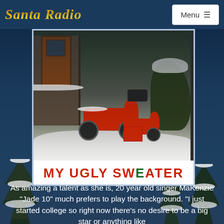Santa Radio
[Figure (photo): Album cover for 'My Ugly Sweater' showing two red scooters/mopeds parked in snow outside a building at night. The scooters are covered in snow. Bold text at bottom reads 'MY UGLY SWEATER' in red and green letters on white background.]
As amazing a talent as she is, 20 year old singer MaKenzie "Jade 10" much prefers to play the background. "I just started college so right now there's no desire to be a big star or anything like